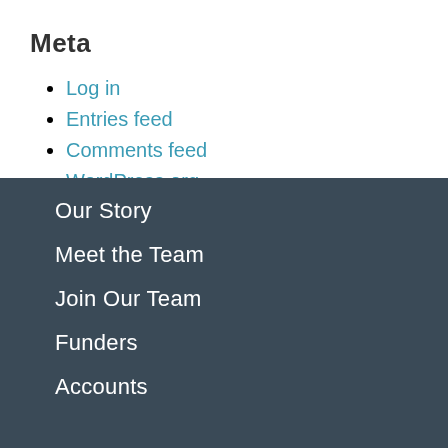Meta
Log in
Entries feed
Comments feed
WordPress.org
Our Story
Meet the Team
Join Our Team
Funders
Accounts